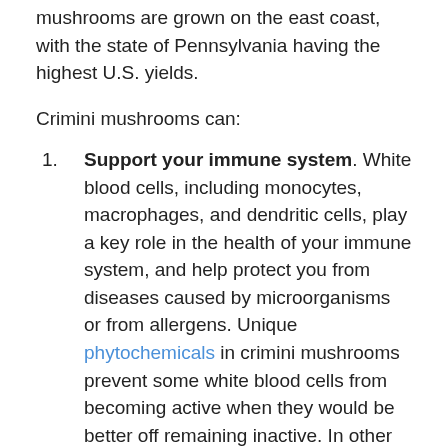mushrooms are grown on the east coast, with the state of Pennsylvania having the highest U.S. yields.
Crimini mushrooms can:
Support your immune system. White blood cells, including monocytes, macrophages, and dendritic cells, play a key role in the health of your immune system, and help protect you from diseases caused by microorganisms or from allergens. Unique phytochemicals in crimini mushrooms prevent some white blood cells from becoming active when they would be better off remaining inactive. In other cases, the phytochemicals trigger white blood cell activity when more activity is needed. The immune-phytochemicals in crimini mushrooms include beta-D-glucans, fucogalactans, APO (2-amino-3H-phenoxazin-